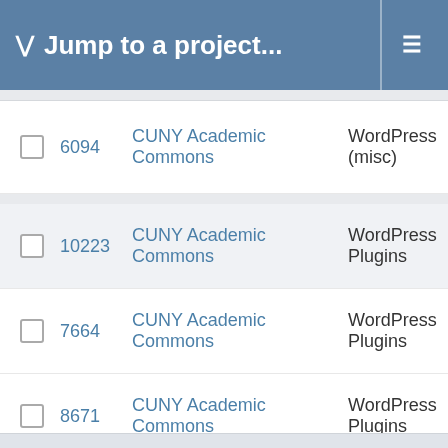Jump to a project...
|  | ID | Project | Category |
| --- | --- | --- | --- |
|  | 6094 | CUNY Academic Commons | WordPress (misc) |
|  | 10223 | CUNY Academic Commons | WordPress Plugins |
|  | 7664 | CUNY Academic Commons | WordPress Plugins |
|  | 8671 | CUNY Academic Commons | WordPress Plugins |
|  | 5996 | CUNY Academic Commons | WordPress Plugins |